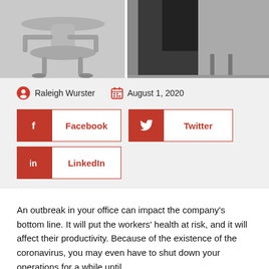[Figure (photo): Split hero image: left side shows a white/grey office chair, right side shows a person in dark clothing near office chairs.]
Raleigh Wurster   August 1, 2020
[Figure (infographic): Social sharing buttons: Facebook, Twitter, LinkedIn]
An outbreak in your office can impact the company's bottom line. It will put the workers' health at risk, and it will affect their productivity. Because of the existence of the coronavirus, you may even have to shut down your operations for a while until